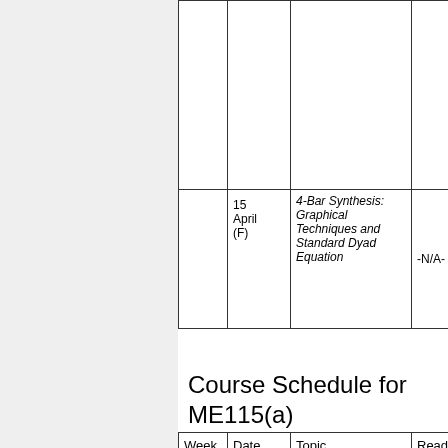| Week | Date | Topic | Reading |
| --- | --- | --- | --- |
|  |  |  |  |
|  | 15 April (F) | 4-Bar Synthesis: Graphical Techniques and Standard Dyad Equation | -N/A- |
Course Schedule for ME115(a)
| Week | Date | Topic | Reading |
| --- | --- | --- | --- |
|  |  |  |  |